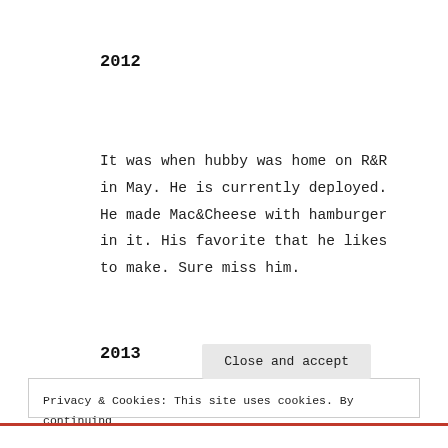2012
It was when hubby was home on R&R in May. He is currently deployed. He made Mac&Cheese with hamburger in it. His favorite that he likes to make. Sure miss him.
2013
Privacy & Cookies: This site uses cookies. By continuing to use this website, you agree to their use. To find out more, including how to control cookies, see here: Cookie Policy
Close and accept